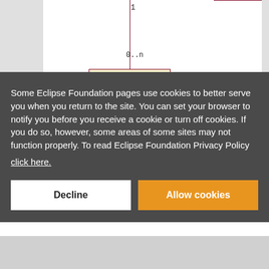[Figure (engineering-diagram): Partial UML class diagram showing a vertical connector line with multiplicity labels '1' and '0..n', and a 'Catalog' class box with yellow background and dark red border.]
Some Eclipse Foundation pages use cookies to better serve you when you return to the site. You can set your browser to notify you before you receive a cookie or turn off cookies. If you do so, however, some areas of some sites may not function properly. To read Eclipse Foundation Privacy Policy
click here.
Decline
Allow cookies